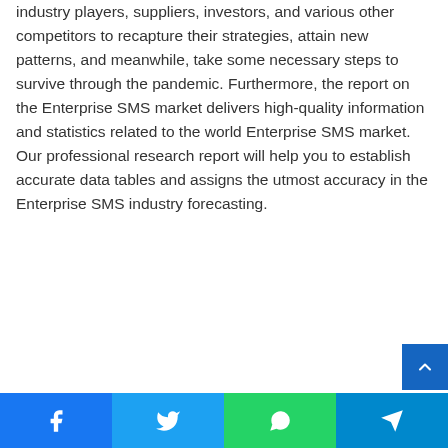industry players, suppliers, investors, and various other competitors to recapture their strategies, attain new patterns, and meanwhile, take some necessary steps to survive through the pandemic. Furthermore, the report on the Enterprise SMS market delivers high-quality information and statistics related to the world Enterprise SMS market. Our professional research report will help you to establish accurate data tables and assigns the utmost accuracy in the Enterprise SMS industry forecasting.
[Figure (other): Social media share bar with Facebook, Twitter, WhatsApp, and Telegram buttons, plus a scroll-to-top button]